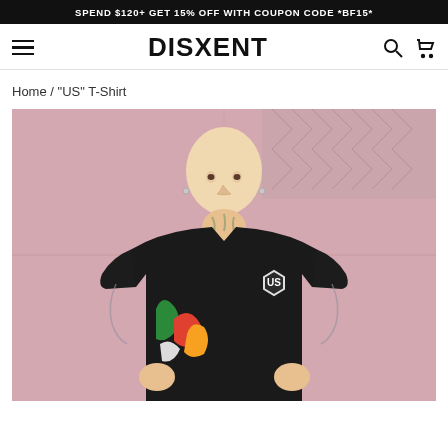SPEND $120+ GET 15% OFF WITH COUPON CODE *BF15*
DISXENT
Home / "US" T-Shirt
[Figure (photo): Person wearing a black oversized 'US' T-Shirt with graphic print, standing against a pink wall with chain-link fence background. Person has tattooed neck and arms, shaved blonde hair, and ear piercings.]